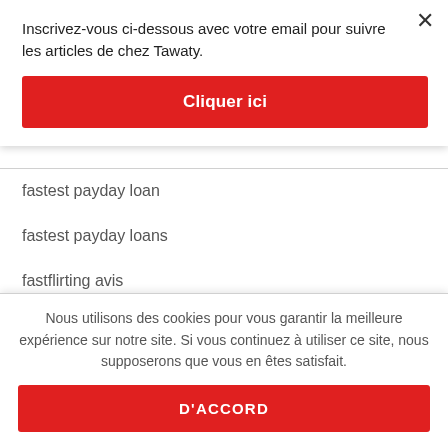Inscrivez-vous ci-dessous avec votre email pour suivre les articles de chez Tawaty.
Cliquer ici
fastest payday loan
fastest payday loans
fastflirting avis
Fastflirting dating site
Nous utilisons des cookies pour vous garantir la meilleure expérience sur notre site. Si vous continuez à utiliser ce site, nous supposerons que vous en êtes satisfait.
D'ACCORD